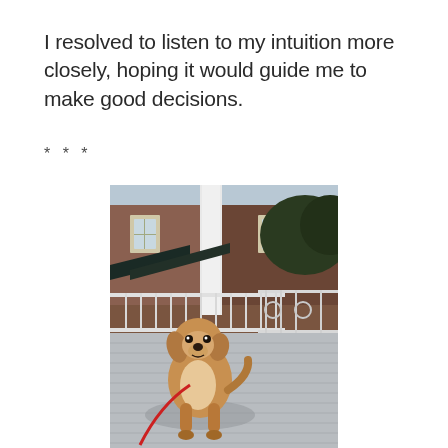I resolved to listen to my intuition more closely, hoping it would guide me to make good decisions.
* * *
[Figure (photo): A medium-sized tan/golden dog sitting on a wooden deck with a red leash, looking at the camera. Behind the dog are white metal railings and a brick building with white windows and green shrubbery in the background. A white column is visible near the top center of the image.]